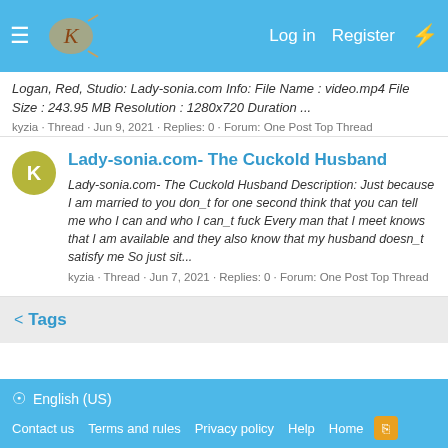Log in   Register
Logan, Red, Studio: Lady-sonia.com Info: File Name : video.mp4 File Size : 243.95 MB Resolution : 1280x720 Duration ...
kyzia · Thread · Jun 9, 2021 · Replies: 0 · Forum: One Post Top Thread
Lady-sonia.com- The Cuckold Husband
Lady-sonia.com- The Cuckold Husband Description: Just because I am married to you don_t for one second think that you can tell me who I can and who I can_t fuck Every man that I meet knows that I am available and they also know that my husband doesn_t satisfy me So just sit...
kyzia · Thread · Jun 7, 2021 · Replies: 0 · Forum: One Post Top Thread
< Tags
English (US)   Contact us   Terms and rules   Privacy policy   Help   Home